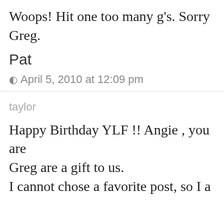Woops! Hit one too many g's. Sorry Greg.
Pat
April 5, 2010 at 12:09 pm
taylor
Happy Birthday YLF !! Angie , you and Greg are a gift to us. I cannot chose a favorite post, so I a…